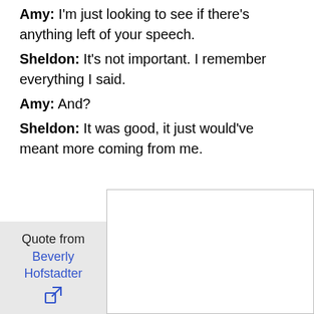Amy: I'm just looking to see if there's anything left of your speech.
Sheldon: It's not important. I remember everything I said.
Amy: And?
Sheldon: It was good, it just would've meant more coming from me.
Quote from Beverly Hofstadter
[Figure (other): White rectangular image box in bottom right area of the page]